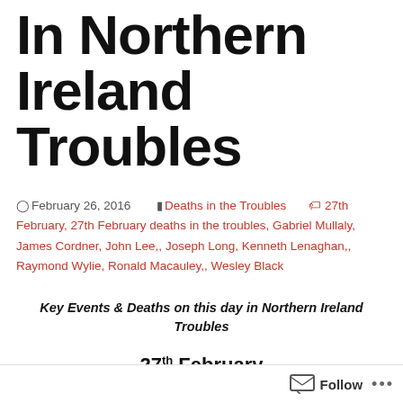In Northern Ireland Troubles
February 26, 2016   Deaths in the Troubles   27th February, 27th February deaths in the troubles, Gabriel Mullaly, James Cordner, John Lee,, Joseph Long, Kenneth Lenaghan,, Raymond Wylie, Ronald Macauley,, Wesley Black
Key Events & Deaths on this day in Northern Ireland Troubles
27th February
Follow ...